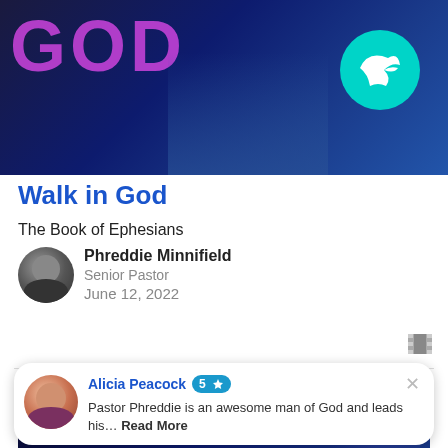[Figure (photo): Dark blue stage scene with large purple 'GOD' text on left and teal dove logo circle on right, person visible in background]
Walk in God
The Book of Ephesians
Phreddie Minnifield
Senior Pastor
June 12, 2022
[Figure (photo): Dark blue stage scene with 'NEW YOU' text at bottom in bright blue, person on stage, with overlaid review bubble from Alicia Peacock (5 stars): 'Pastor Phreddie is an awesome man of God and leads his... Read More']